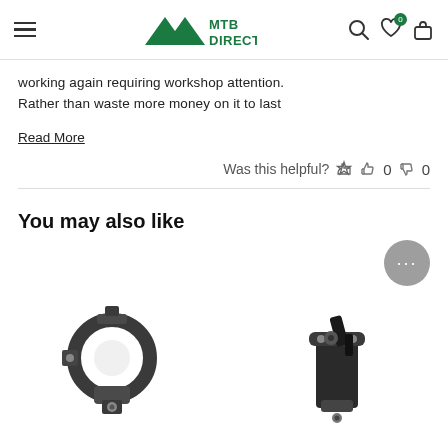MTB DIRECT
working again requiring workshop attention. Rather than waste more money on it to last
Read More
Was this helpful? 👍 0 👎 0
You may also like
[Figure (photo): Two bicycle component products (clamp/mount parts) shown side by side at the bottom of the page]